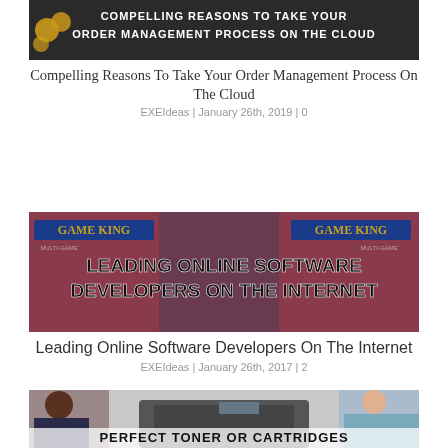[Figure (photo): Banner image with text 'Compelling Reasons To Take Your Order Management Process On The Cloud' on dark background with gold coins]
Compelling Reasons To Take Your Order Management Process On The Cloud
EXEIdeas | January 26th, 2019 | 0
[Figure (photo): Photo of casino game machines with text overlay 'Leading Online Software Developers On The Internet' in bold black font with white outline]
Leading Online Software Developers On The Internet
EXEIdeas | January 26th, 2017 | 2
[Figure (photo): Photo of man and woman near printer/copier with text overlay 'Perfect Toner Or Cartridges' at bottom]